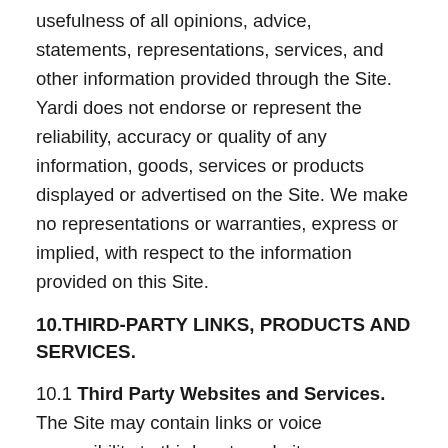usefulness of all opinions, advice, statements, representations, services, and other information provided through the Site. Yardi does not endorse or represent the reliability, accuracy or quality of any information, goods, services or products displayed or advertised on the Site. We make no representations or warranties, express or implied, with respect to the information provided on this Site.
10.THIRD-PARTY LINKS, PRODUCTS AND SERVICES.
10.1 Third Party Websites and Services. The Site may contain links or voice accessibility to third-party websites or resources including but not limited to sites with information about specific rental properties. Access to such third-party websites, services or resources are included solely for the convenience of Users, and do not constitute any